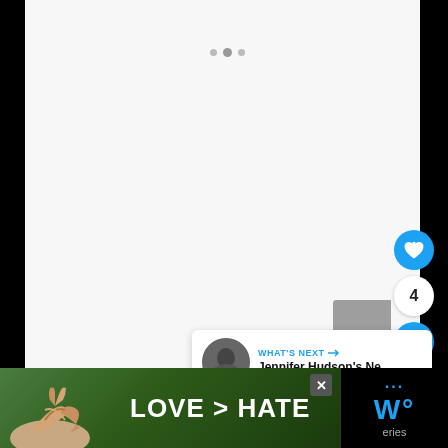[Figure (screenshot): A mostly white/light gray content area representing a web page or app screen with navigation dots near the top center. On the right side there is a blue circular like/heart button, a share count badge showing '4', and a blue circular share button. A gray rectangle is visible at right. A 'What's Next' card shows a thumbnail of a person and text 'Jennifer Hudson's Ne...' with a blue arrow label.]
[Figure (screenshot): Bottom advertisement bar on black background. Left portion shows hands making a heart shape over green foliage background with text 'LOVE > HATE' in white bold letters and an X close button. Right portion shows a stylized 'W' logo in blue and the word 'eries' partially visible in gray text.]